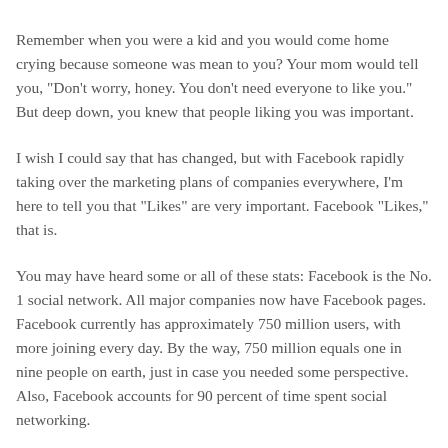Remember when you were a kid and you would come home crying because someone was mean to you? Your mom would tell you, "Don't worry, honey. You don't need everyone to like you." But deep down, you knew that people liking you was important.
I wish I could say that has changed, but with Facebook rapidly taking over the marketing plans of companies everywhere, I'm here to tell you that "Likes" are very important. Facebook "Likes," that is.
You may have heard some or all of these stats: Facebook is the No. 1 social network. All major companies now have Facebook pages. Facebook currently has approximately 750 million users, with more joining every day. By the way, 750 million equals one in nine people on earth, just in case you needed some perspective. Also, Facebook accounts for 90 percent of time spent social networking.
We all know Facebook is important for businesses. But simply creating a Facebook page and then leaving it alone is not going to get you